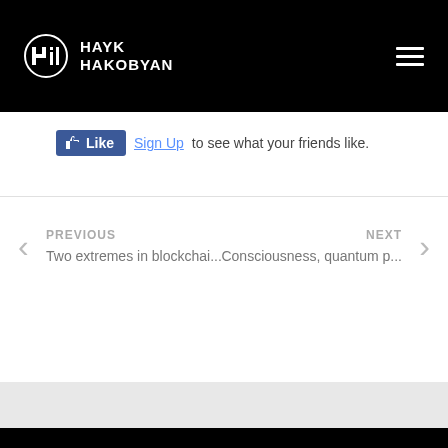HAYK HAKOBYAN
[Figure (screenshot): Facebook Like button with Sign Up link and text 'to see what your friends like.']
PREVIOUS
Two extremes in blockchai...
NEXT
Consciousness, quantum p...